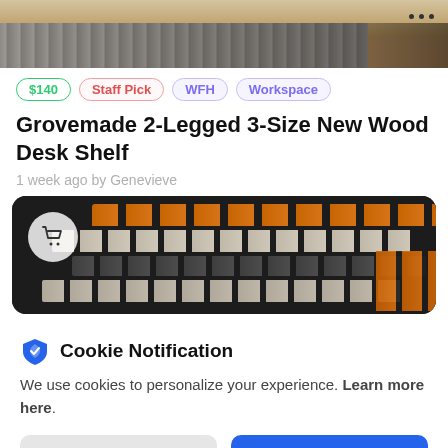[Figure (photo): Top portion of a product listing image showing a wooden desk with keyboard, partially cropped. Three-dot menu icon in top right.]
$140
Staff Pick
WFH
Workspace
Grovemade 2-Legged 3-Size New Wood Desk Shelf
1 week ago by Genevieve
[Figure (photo): Close-up photo of a keyboard with orange and white/grey keycaps on dark background, with a shopping cart icon overlay on the left side.]
Cookie Notification
We use cookies to personalize your experience. Learn more here.
I Don't Accept
I Accept